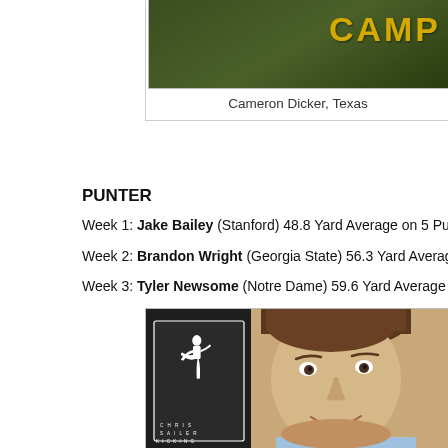[Figure (photo): Partial photo showing someone in a camp shirt with 'CAMP' text visible in gold on dark background, cropped at top of page]
Cameron Dicker, Texas
PUNTER
Week 1: Jake Bailey (Stanford) 48.8 Yard Average on 5 Punts (Lo...
Week 2: Brandon Wright (Georgia State) 56.3 Yard Average on 4...
Week 3: Tyler Newsome (Notre Dame) 59.6 Yard Average on 5 Pu...
[Figure (photo): Photo of a smiling young man with brown hair in front of a Chris Sailer Kicking / Ruby Long Snapping branded backdrop with kicker and snapper silhouette panels]